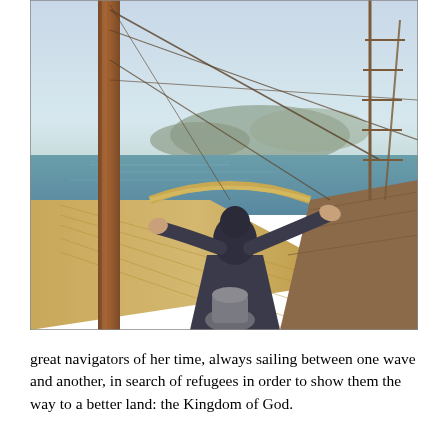[Figure (illustration): A painting/illustration of a robed figure standing on the deck of a wooden sailing ship, arms outstretched, facing forward toward the bow. The ship's mast is visible on the left, rigging and ropes surround the scene, and in the background mountains and a calm sea can be seen under a pale sky.]
great navigators of her time, always sailing between one wave and another, in search of refugees in order to show them the way to a better land: the Kingdom of God.